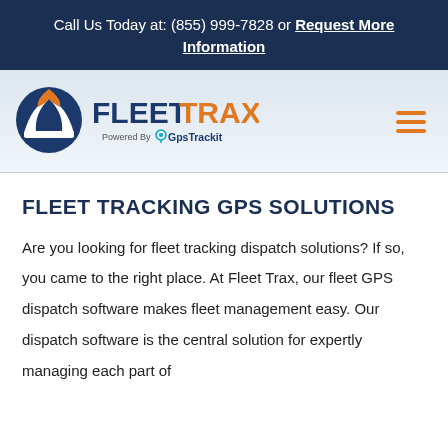Call Us Today at: (855) 999-7828 or Request More Information
[Figure (logo): FleetTrax logo with circular icon and text 'FLEETTRAX Powered By GpsTrackit']
FLEET TRACKING GPS SOLUTIONS
Are you looking for fleet tracking dispatch solutions? If so, you came to the right place. At Fleet Trax, our fleet GPS dispatch software makes fleet management easy. Our dispatch software is the central solution for expertly managing each part of